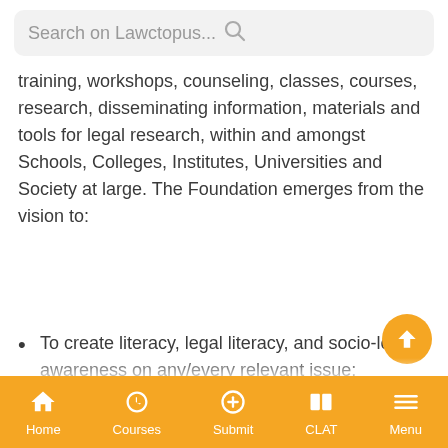Search on Lawctopus...
training, workshops, counseling, classes, courses, research, disseminating information, materials and tools for legal research, within and amongst Schools, Colleges, Institutes, Universities and Society at large. The Foundation emerges from the vision to:
To create literacy, legal literacy, and socio-legal awareness on any/every relevant issue;
To promote and empower Women and Child Rights and Causes;
To oppose and end discrimination; and
Home  Courses  Submit  CLAT  Menu